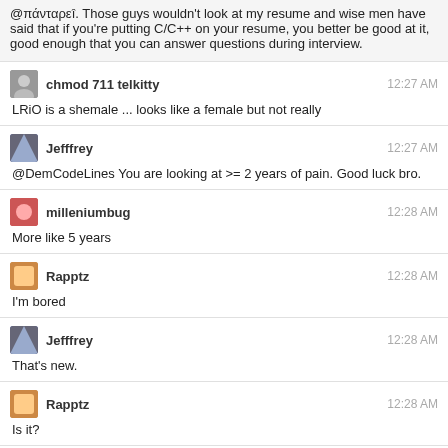@πάνταρεî. Those guys wouldn't look at my resume and wise men have said that if you're putting C/C++ on your resume, you better be good at it, good enough that you can answer questions during interview.
chmod 711 telkitty  12:27 AM
LRiO is a shemale ... looks like a female but not really
Jefffrey  12:27 AM
@DemCodeLines You are looking at >= 2 years of pain. Good luck bro.
milleniumbug  12:28 AM
More like 5 years
Rapptz  12:28 AM
I'm bored
Jefffrey  12:28 AM
That's new.
Rapptz  12:28 AM
Is it?
DemCodeLines  12:28 AM
Years of pain for what? Learning or interviewing?
Jefffrey  12:29 AM
[Figure (screenshot): Music player popup showing Cap by The Kooks – Konk]